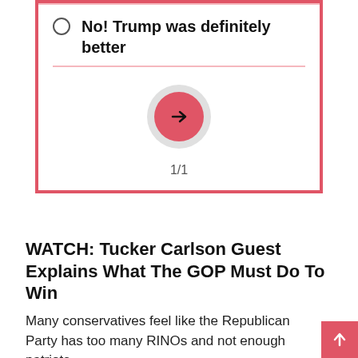[Figure (screenshot): Poll widget with a radio button option reading 'No! Trump was definitely better', a pink divider line, a red circular arrow/next button, and pagination showing 1/1]
WATCH: Tucker Carlson Guest Explains What The GOP Must Do To Win
Many conservatives feel like the Republican Party has too many RINOs and not enough patriots.